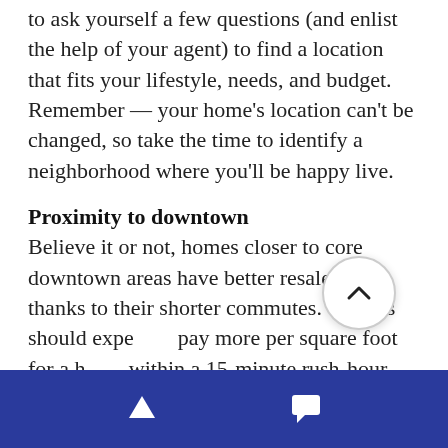to ask yourself a few questions (and enlist the help of your agent) to find a location that fits your lifestyle, needs, and budget.  Remember — your home's location can't be changed, so take the time to identify a neighborhood where you'll be happy live.
Proximity to downtown
Believe it or not, homes closer to core downtown areas have better resale value, thanks to their shorter commutes.  Buyers should expect to pay more per square foot for a home within a 15-minute rush-hour drive to the downtown core.
[Figure (other): Circular scroll-up button with chevron arrow pointing upward]
Navigation bar with up arrow and chat icons on dark blue background